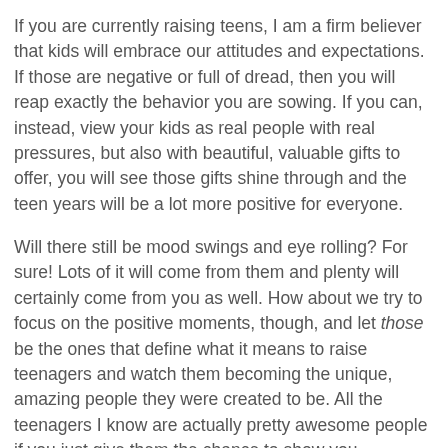If you are currently raising teens, I am a firm believer that kids will embrace our attitudes and expectations. If those are negative or full of dread, then you will reap exactly the behavior you are sowing. If you can, instead, view your kids as real people with real pressures, but also with beautiful, valuable gifts to offer, you will see those gifts shine through and the teen years will be a lot more positive for everyone.
Will there still be mood swings and eye rolling? For sure! Lots of it will come from them and plenty will certainly come from you as well. How about we try to focus on the positive moments, though, and let those be the ones that define what it means to raise teenagers and watch them becoming the unique, amazing people they were created to be. All the teenagers I know are actually pretty awesome people if you just give them the chance to show you.
Lisa Witherspoon at 6:00 AM